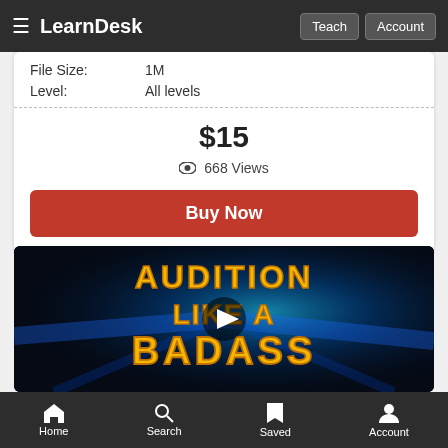LearnDesk  Teach  Account
File Size: 1M
Level: All levels
$15
👁 668 Views
Buy Now
[Figure (screenshot): Video thumbnail for a course titled 'Audition Like A Badass' with blue cosmic/explosion background and a play button in the center]
Home  Search  Saved  Account